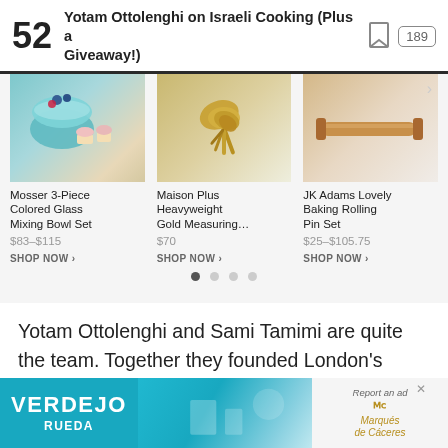52 Yotam Ottolenghi on Israeli Cooking (Plus a Giveaway!) [bookmark icon] 189
[Figure (photo): Product carousel showing three baking/cooking items: Mosser 3-Piece Colored Glass Mixing Bowl Set, Maison Plus Heavyweight Gold Measuring spoons, and JK Adams Lovely Baking Rolling Pin Set]
Mosser 3-Piece Colored Glass Mixing Bowl Set
$83–$115
SHOP NOW
Maison Plus Heavyweight Gold Measuring...
$70
SHOP NOW
JK Adams Lovely Baking Rolling Pin Set
$25–$105.75
SHOP NOW
Yotam Ottolenghi and Sami Tamimi are quite the team. Together they founded London's most popul…
[Figure (photo): Advertisement banner: Verdejo Rueda wine ad with teal background, and Marqués de Cáceres branding on the right]